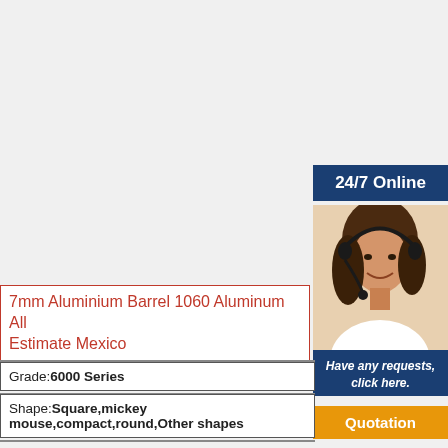[Figure (photo): Customer service representative with headset smiling, with '24/7 Online' blue banner above and dark blue overlay with 'Have any requests, click here.' text and orange 'Quotation' button below]
7mm Aluminium Barrel 1060 Aluminum All Estimate Mexico
| Grade: 6000 Series |
| Shape: Square,mickey mouse,compact,round,Other shapes |